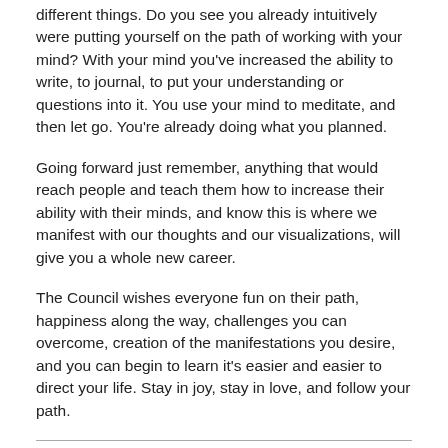different things. Do you see you already intuitively were putting yourself on the path of working with your mind? With your mind you've increased the ability to write, to journal, to put your understanding or questions into it. You use your mind to meditate, and then let go. You're already doing what you planned.
Going forward just remember, anything that would reach people and teach them how to increase their ability with their minds, and know this is where we manifest with our thoughts and our visualizations, will give you a whole new career.
The Council wishes everyone fun on their path, happiness along the way, challenges you can overcome, creation of the manifestations you desire, and you can begin to learn it's easier and easier to direct your life. Stay in joy, stay in love, and follow your path.
Listen to the entire 8-minute audio recording of our session with The Council (below) to hear all their guidance and Brett's IFER explanation of how to use these tools and